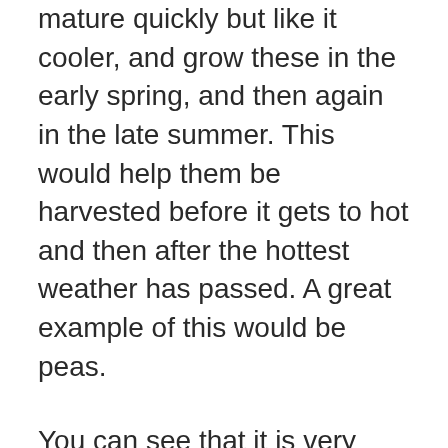mature quickly but like it cooler, and grow these in the early spring, and then again in the late summer. This would help them be harvested before it gets to hot and then after the hottest weather has passed. A great example of this would be peas.
You can see that it is very possible to have a successful garden in Tennessee. Even better, a garden that can produce food year round!
As long as you are taking your hardiness zone into consideration and planting at